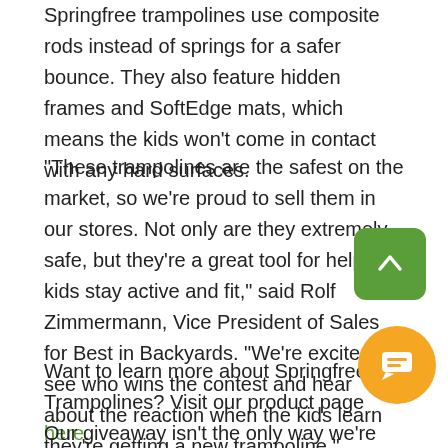Springfree trampolines use composite rods instead of springs for a safer bounce. They also feature hidden frames and SoftEdge mats, which means the kids won't come in contact with any hard surfaces.
"These trampolines are the safest on the market, so we're proud to sell them in our stores. Not only are they extremely safe, but they're a great tool for helping kids stay active and fit," said Rolf Zimmermann, Vice President of Sales for Best in Backyards. "We're excited to see who wins the contest and hear about the reaction when the kids learn they're getting a new trampoline."
Want to learn more about Springfree Trampolines? Visit our product page here.
Our giveaway isn't the only way we're celebrating the